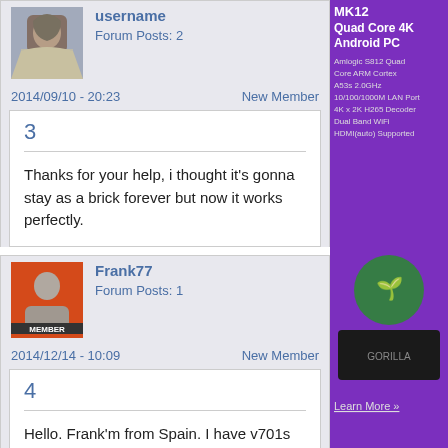Forum Posts: 2
2014/09/10 - 20:23
New Member
3
Thanks for your help, i thought it's gonna stay as a brick forever but now it works perfectly.
[Figure (infographic): Purple advertisement banner for Quad Core 4K Android PC (MK12 product) with product image and features listed]
Frank77
Forum Posts: 1
2014/12/14 - 10:09
New Member
4
Hello. Frank'm from Spain. I have v701s past two days ago. Yesterday I wanted to upgrade to 4.4 kit kat. I followed the steps in Phoenix and did everything right. Wanting to start, the screen does